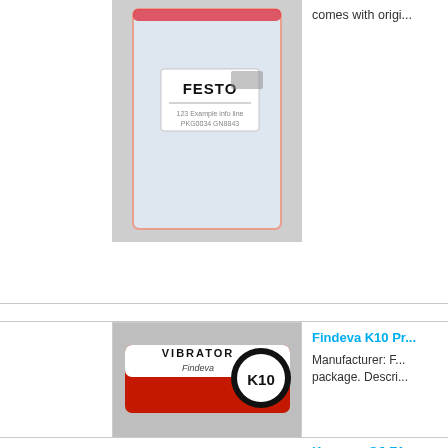[Figure (photo): Festo component in a clear plastic zip-lock bag with a white label reading FESTO]
comes with origi...
[Figure (photo): Findeva K10 vibrator in a red and white box labeled VIBRATOR Findeva K10]
Findeva K10 Pr...
Manufacturer: F... package. Descri...
[Figure (photo): Keyence SJ-F1 controller with cable]
Keyence SJ-F1...
A controller mult... however, it is st...